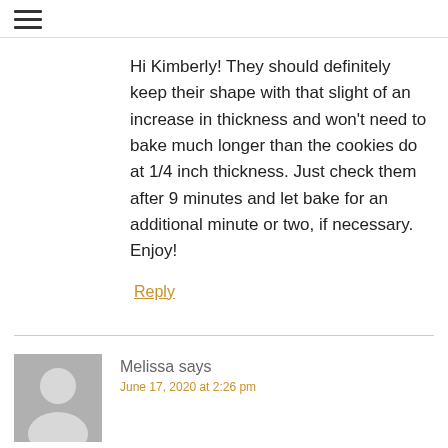≡
Hi Kimberly! They should definitely keep their shape with that slight of an increase in thickness and won't need to bake much longer than the cookies do at 1/4 inch thickness. Just check them after 9 minutes and let bake for an additional minute or two, if necessary. Enjoy!
Reply
Melissa says
June 17, 2020 at 2:26 pm